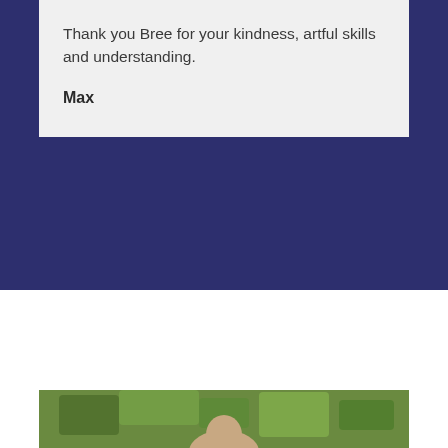Thank you Bree for your kindness, artful skills and understanding.
Max
Why me?
[Figure (photo): Photograph of a person with blonde hair outdoors among green trees]